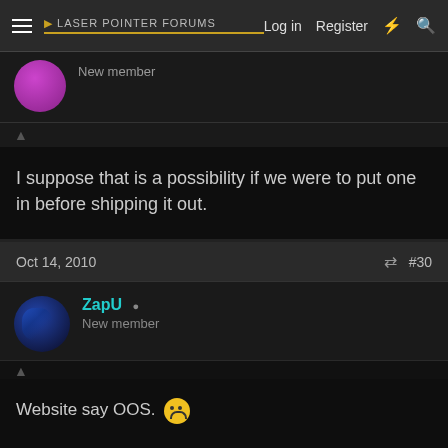Laser Pointer Forums  Log in  Register
New member
I suppose that is a possibility if we were to put one in before shipping it out.
Oct 14, 2010  #30
ZapU  New member
Website say OOS. 🙁

Only two sales so far on this thread.
I would be another one.

Edit